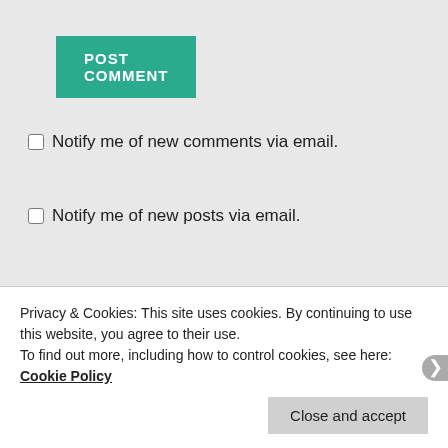POST COMMENT
Notify me of new comments via email.
Notify me of new posts via email.
This site uses Akismet to reduce spam. Learn how your comment data is processed.
PREVIOUS POST
At last I have something to show you!
Privacy & Cookies: This site uses cookies. By continuing to use this website, you agree to their use.
To find out more, including how to control cookies, see here: Cookie Policy
Close and accept